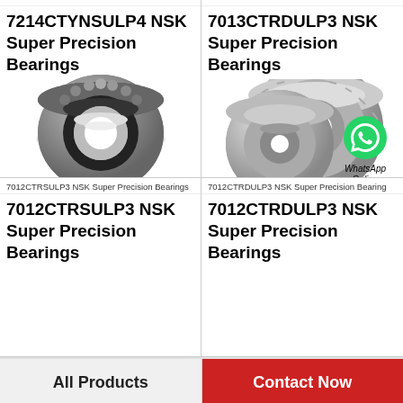7214CTYNSULP4 NSK Super Precision Bearin
7013CTRDULP3 NSK Super Precision Bearing
7214CTYNSULP4 NSK Super Precision Bearings
[Figure (photo): NSK Super Precision angular contact ball bearing, cylindrical shaped, dark metallic finish, front view]
7013CTRDULP3 NSK Super Precision Bearings
[Figure (photo): NSK Super Precision bearings pair, gray metallic finish, with WhatsApp Online overlay badge]
7012CTRSULP3 NSK Super Precision Bearings
7012CTRDULP3 NSK Super Precision Bearing
7012CTRSULP3 NSK Super Precision Bearings
7012CTRDULP3 NSK Super Precision Bearings
All Products
Contact Now